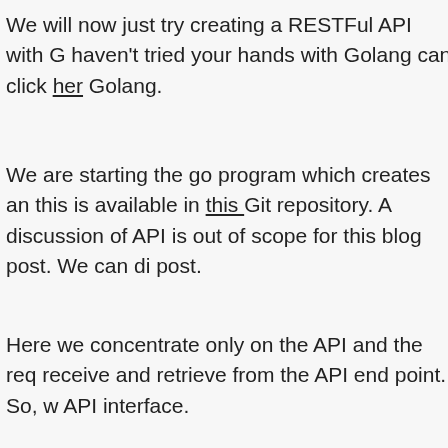We will now just try creating a RESTFul API with G haven't tried your hands with Golang can click her Golang.
We are starting the go program which creates an this is available in this Git repository. A discussion of API is out of scope for this blog post. We can di post.
Here we concentrate only on the API and the req receive and retrieve from the API end point. So, w API interface.